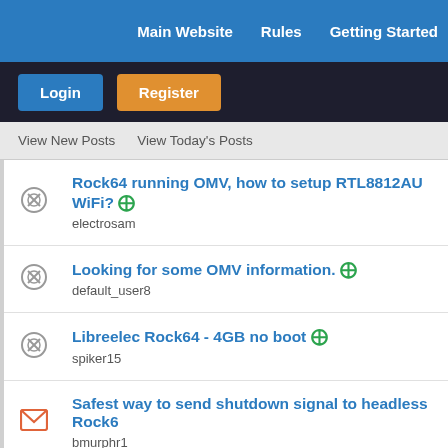Main Website  Rules  Getting Started
Login  Register
View New Posts  View Today's Posts
Rock64 running OMV, how to setup RTL8812AU WiFi? electrosam
Looking for some OMV information. default_user8
Libreelec Rock64 - 4GB no boot spiker15
Safest way to send shutdown signal to headless Rock64 bmurphr1
Pine Rock64 eMMC lifespan moonspell79